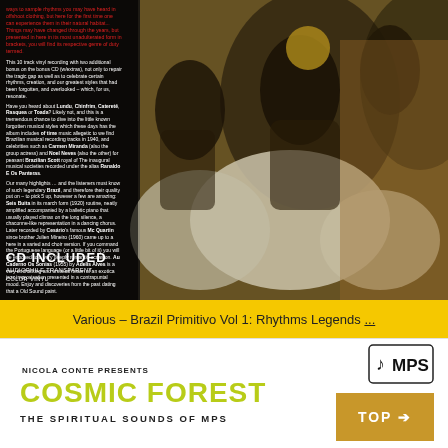[Figure (photo): Black and white photograph of Brazilian dancers in traditional dress with a color tinted overlay. Women in white ruffled skirts and decorated costumes dancing, with yellow-brown toning on parts of the image. Left side has red text overlay with album liner notes and white text below.]
CD INCLUDED
AUDIOPHILE TRANSPARENT
COLOR VINYL
Various – Brazil Primitivo Vol 1: Rhythms Legends ...
[Figure (logo): MPS Records logo — black text 'MPS' with musical note symbol, inside a white rounded rectangle with thin black border]
NICOLA CONTE PRESENTS
COSMIC FOREST
THE SPIRITUAL SOUNDS OF MPS
TOP ➔
[Figure (photo): Bottom strip showing a green forest/nature scene, partially visible at the very bottom of the page]